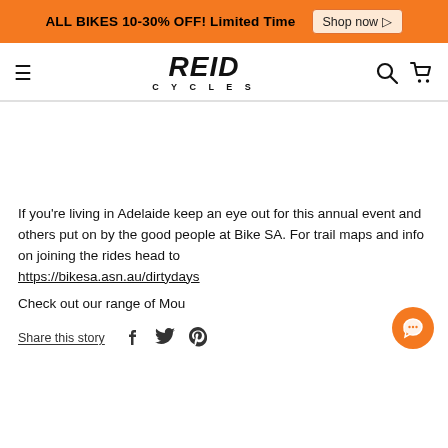ALL BIKES 10-30% OFF! Limited Time  Shop now ▷
[Figure (logo): Reid Cycles logo with hamburger menu, search and cart icons]
[Figure (photo): Empty white image area (image not loaded)]
If you're living in Adelaide keep an eye out for this annual event and others put on by the good people at Bike SA. For trail maps and info on joining the rides head to https://bikesa.asn.au/dirtydays
Check out our range of Mou
Share this story